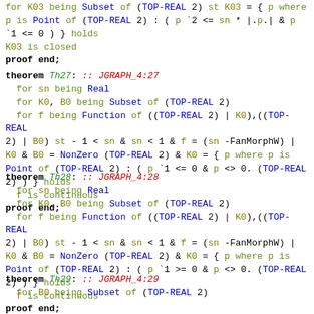for K03 being Subset of (TOP-REAL 2) st K03 = { p where p is Point of (TOP-REAL 2) : ( p `2 <= sn * |.p.| & p `1 <= 0 ) } holds
K03 is closed
proof end;
theorem Th27: :: JGRAPH_4:27
  for sn being Real
  for K0, B0 being Subset of (TOP-REAL 2)
  for f being Function of ((TOP-REAL 2) | K0),((TOP-REAL 2) | B0) st - 1 < sn & sn < 1 & f = (sn -FanMorphW) | K0 & B0 = NonZero (TOP-REAL 2) & K0 = { p where p is Point of (TOP-REAL 2) : ( p `1 <= 0 & p <> 0. (TOP-REAL 2) ) } holds
f is continuous
proof end;
theorem Th28: :: JGRAPH_4:28
  for sn being Real
  for K0, B0 being Subset of (TOP-REAL 2)
  for f being Function of ((TOP-REAL 2) | K0),((TOP-REAL 2) | B0) st - 1 < sn & sn < 1 & f = (sn -FanMorphW) | K0 & B0 = NonZero (TOP-REAL 2) & K0 = { p where p is Point of (TOP-REAL 2) : ( p `1 >= 0 & p <> 0. (TOP-REAL 2) ) } holds
f is continuous
proof end;
theorem Th29: :: JGRAPH_4:29
  for B0 being Subset of (TOP-REAL 2)